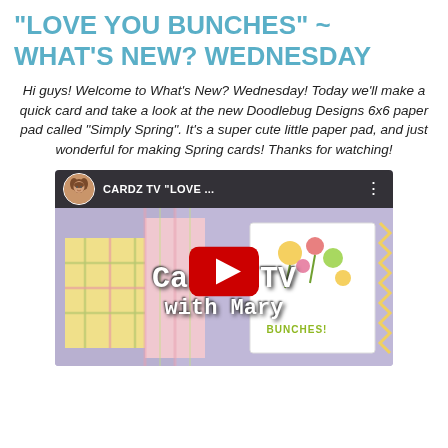"LOVE YOU BUNCHES" ~ WHAT'S NEW? WEDNESDAY
Hi guys! Welcome to What's New? Wednesday! Today we'll make a quick card and take a look at the new Doodlebug Designs 6x6 paper pad called "Simply Spring". It's a super cute little paper pad, and just wonderful for making Spring cards! Thanks for watching!
[Figure (screenshot): YouTube video thumbnail for Cardz TV 'LOVE YOU BUNCHES' video showing a crafted card with 'Cardz TV with Mary' text overlay and a red YouTube play button. The card features spring-themed patterned paper in lavender, yellow plaid, and floral designs with 'BUNCHES!' text visible.]